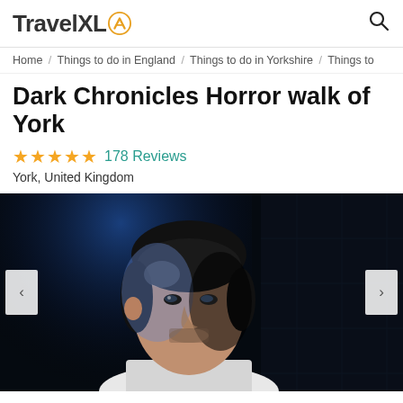TravelXL
Home / Things to do in England / Things to do in Yorkshire / Things to
Dark Chronicles Horror walk of York
★★★★★ 178 Reviews
York, United Kingdom
[Figure (photo): Dark dramatic portrait of a man in dim blue-tinted lighting against a dark background, wearing a white shirt, looking intensely at the camera. Navigation arrows visible on left and right sides.]